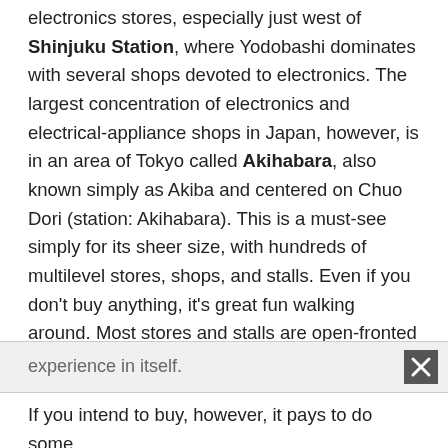electronics stores, especially just west of Shinjuku Station, where Yodobashi dominates with several shops devoted to electronics. The largest concentration of electronics and electrical-appliance shops in Japan, however, is in an area of Tokyo called Akihabara, also known simply as Akiba and centered on Chuo Dori (station: Akihabara). This is a must-see simply for its sheer size, with hundreds of multilevel stores, shops, and stalls. Even if you don't buy anything, it's great fun walking around. Most stores and stalls are open-fronted and painted in eye-catching colors. Salespeople yell out their wares, trying to get customers to look at cellphones, computers, digital cameras, TVs, calculators, watches, and rice cookers. This is the best place to see the latest models of everything electronic; it's an educational experience in itself.
If you intend to buy, however, it pays to do some